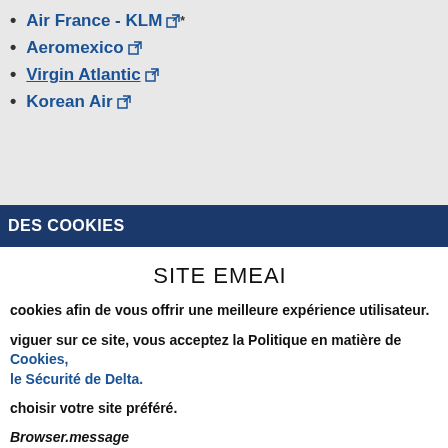Air France - KLM  ↗*
Aeromexico  ↗
Virgin Atlantic  ↗
Korean Air  ↗
DES COOKIES
SITE EMEAI
cookies afin de vous offrir une meilleure expérience utilisateur.
viguer sur ce site, vous acceptez la Politique en matière de Cookies, le Sécurité de Delta.
choisir votre site préféré.
Browser.message
LTER LE SITE EMEAI   CHOISIR UN SITE DIFFÉRENT